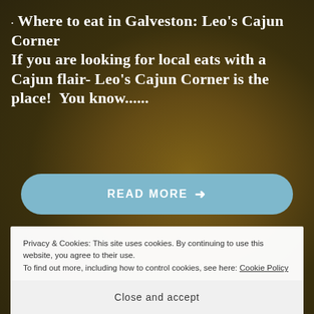[Figure (photo): Background photo of Cajun food — fried items on a green leaf, olive and brown tones, dark and moody lighting]
Where to eat in Galveston: Leo's Cajun Corner If you are looking for local eats with a Cajun flair- Leo's Cajun Corner is the place!  You know......
READ MORE →
Privacy & Cookies: This site uses cookies. By continuing to use this website, you agree to their use.
To find out more, including how to control cookies, see here: Cookie Policy
Close and accept